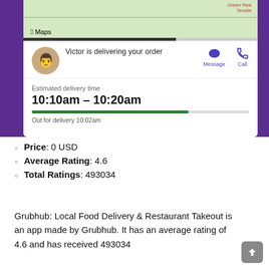[Figure (screenshot): Grubhub app screenshot showing delivery tracking: map view at top, courier named Victor delivering an order with Message and Call buttons, estimated delivery time 10:10am – 10:20am with progress bar, out for delivery at 10:02am]
Price: 0 USD
Average Rating: 4.6
Total Ratings: 493034
Grubhub: Local Food Delivery & Restaurant Takeout is an app made by Grubhub. It has an average rating of 4.6 and has received 493034